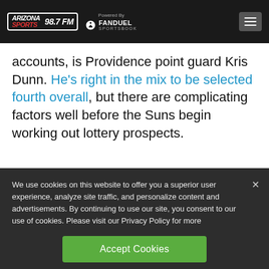Arizona Sports 98.7 FM | Powered By FanDuel Sportsbook
accounts, is Providence point guard Kris Dunn. He’s right in the mix to be selected fourth overall, but there are complicating factors well before the Suns begin working out lottery prospects.
We use cookies on this website to offer you a superior user experience, analyze site traffic, and personalize content and advertisements. By continuing to use our site, you consent to our use of cookies. Please visit our Privacy Policy for more information.
Accept Cookies